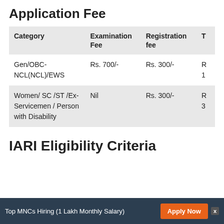Application Fee
| Category | Examination Fee | Registration fee | T |
| --- | --- | --- | --- |
| Gen/OBC-NCL(NCL)/EWS | Rs. 700/- | Rs. 300/- | R
1 |
| Women/ SC /ST /Ex-Servicemen / Person with Disability | Nil | Rs. 300/- | R
3 |
IARI Eligibility Criteria
Top MNCs Hiring (1 Lakh Monthly Salary)